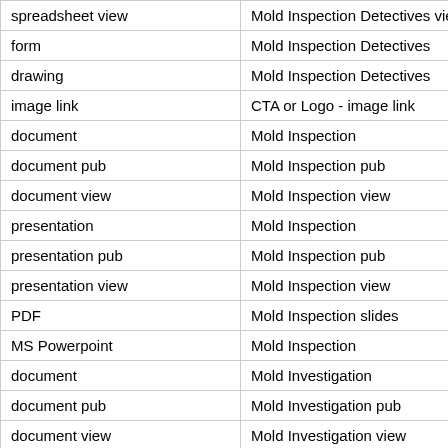| spreadsheet view | Mold Inspection Detectives view |
| form | Mold Inspection Detectives |
| drawing | Mold Inspection Detectives |
| image link | CTA or Logo - image link |
| document | Mold Inspection |
| document pub | Mold Inspection pub |
| document view | Mold Inspection view |
| presentation | Mold Inspection |
| presentation pub | Mold Inspection pub |
| presentation view | Mold Inspection view |
| PDF | Mold Inspection slides |
| MS Powerpoint | Mold Inspection |
| document | Mold Investigation |
| document pub | Mold Investigation pub |
| document view | Mold Investigation view |
| presentation | Mold Investigation |
| presentation pub | Mold Investigation pub |
| presentation view | Mold Investigation view |
| PDF | Mold Investigation slides |
| MS Powerpoint | Mold Investigation |
| document | Mold Inspection Detectives |
| document pub | Mold Inspection Detectives pub |